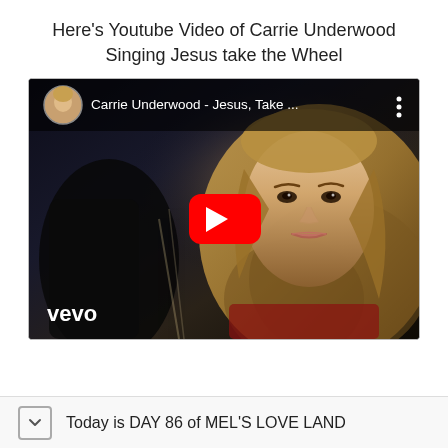Here’s Youtube Video of Carrie Underwood Singing Jesus take the Wheel
[Figure (screenshot): YouTube video thumbnail for Carrie Underwood - Jesus, Take the Wheel (Vevo). Shows a blonde woman's face on a dark background with a red YouTube play button in the center and the Vevo logo in the bottom left. The video title bar at the top shows a circular avatar and the text 'Carrie Underwood - Jesus, Take ...']
Today is DAY 86 of MEL’S LOVE LAND